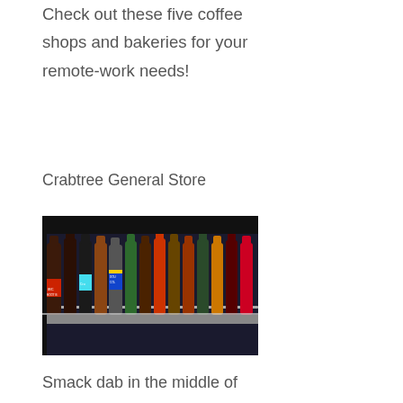Check out these five coffee shops and bakeries for your remote-work needs!
Crabtree General Store
[Figure (photo): Rows of glass soda bottles on a store shelf, including IBC Root Beer, Crush, and Double Cola among other colorful bottled sodas.]
Smack dab in the middle of Downtown Franklin is Crabtree general store–inside you'll find old fashioned glass soda bottles,